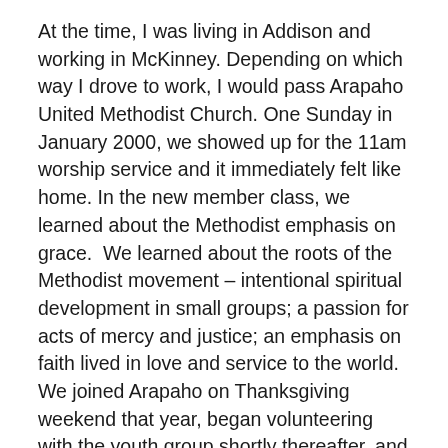At the time, I was living in Addison and working in McKinney. Depending on which way I drove to work, I would pass Arapaho United Methodist Church. One Sunday in January 2000, we showed up for the 11am worship service and it immediately felt like home. In the new member class, we learned about the Methodist emphasis on grace.  We learned about the roots of the Methodist movement – intentional spiritual development in small groups; a passion for acts of mercy and justice; an emphasis on faith lived in love and service to the world. We joined Arapaho on Thanksgiving weekend that year, began volunteering with the youth group shortly thereafter, and our lives have never been the same.
I heard my call to ordained ministry while we were at Arapaho, but that's just one part of our family's story. We've served three different churches – Arapaho, First UMC Henrietta, and First UMC…